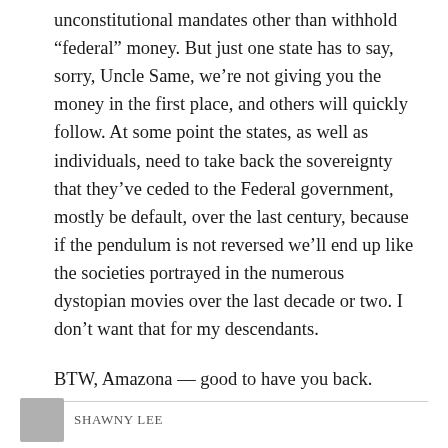unconstitutional mandates other than withhold “federal” money. But just one state has to say, sorry, Uncle Same, we’re not giving you the money in the first place, and others will quickly follow. At some point the states, as well as individuals, need to take back the sovereignty that they’ve ceded to the Federal government, mostly be default, over the last century, because if the pendulum is not reversed we’ll end up like the societies portrayed in the numerous dystopian movies over the last decade or two. I don’t want that for my descendants.

BTW, Amazona — good to have you back.
SHAWNY LEE